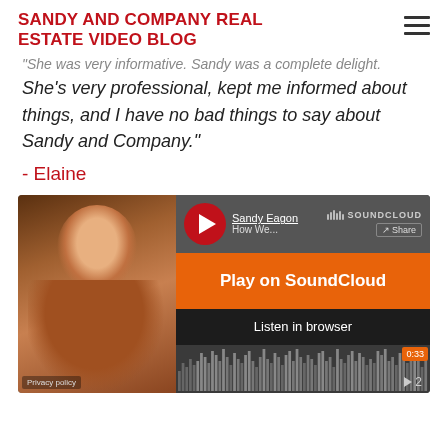SANDY AND COMPANY REAL ESTATE VIDEO BLOG
"She was very informative. Sandy was a complete delight. She's very professional, kept me informed about things, and I have no bad things to say about Sandy and Company."
- Elaine
[Figure (screenshot): SoundCloud embedded audio player showing Sandy Eagon track with photo of woman with red hair, orange Play on SoundCloud button, Listen in browser button, waveform display showing 0:33, Privacy policy link, and number 2]